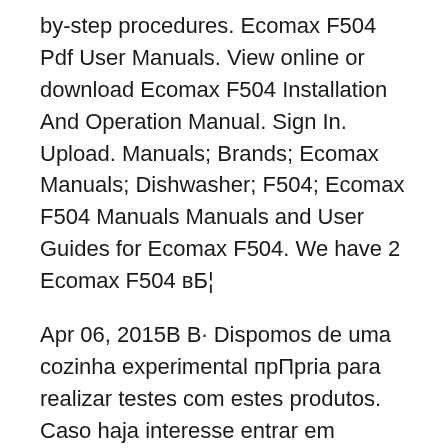by-step procedures. Ecomax F504 Pdf User Manuals. View online or download Ecomax F504 Installation And Operation Manual. Sign In. Upload. Manuals; Brands; Ecomax Manuals; Dishwasher; F504; Ecomax F504 Manuals Manuals and User Guides for Ecomax F504. We have 2 Ecomax F504 вБ¦
Apr 06, 2015В В· Dispomos de uma cozinha experimental прПpria para realizar testes com estes produtos. Caso haja interesse entrar em contato no (11) 2914-1228 ou вБ¦ With a high capacity of up to 60 racks per hour, this dishwasher is a reliable partner for club houses, bistros, and fast-food restaurants. The practical floor unit fits under every work counter.